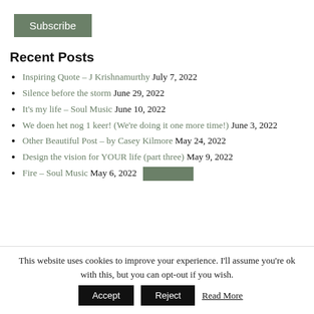Subscribe
Recent Posts
Inspiring Quote – J Krishnamurthy July 7, 2022
Silence before the storm June 29, 2022
It's my life – Soul Music June 10, 2022
We doen het nog 1 keer! (We're doing it one more time!) June 3, 2022
Other Beautiful Post – by Casey Kilmore May 24, 2022
Design the vision for YOUR life (part three) May 9, 2022
Fire – Soul Music May 6, 2022
This website uses cookies to improve your experience. I'll assume you're ok with this, but you can opt-out if you wish.